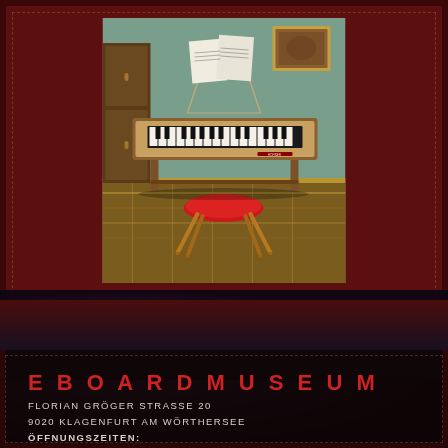[Figure (photo): Photo of a vintage electronic keyboard/organ on legs with a red padded stool in front, sheet music stand on top, ornate rug on floor, cabinet and painting visible in background]
EBOARDMUSEUM
FLORIAN GRÖGER STRASSE 20
9020 KLAGENFURT AM WÖRTHERSEE
ÖFFNUNGSZEITEN:
TÄGLICH VON 14.00 BIS 19.00 UHR